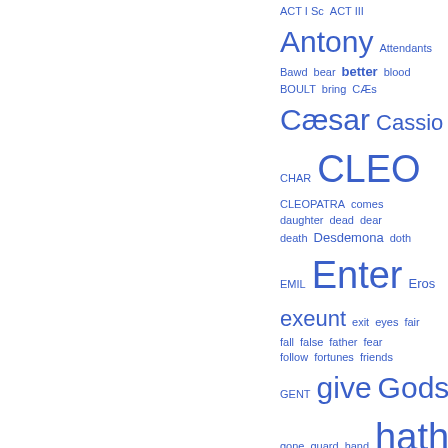[Figure (other): Word cloud of terms from Shakespeare plays, displayed in blue text on white background, with word sizes varying by frequency. Words include: ACT I Sc, ACT III, Antony, Attendants, Bawd, bear, better, blood, BOULT, bring, CÆs, Cæsar, Cassio, CHAR, CLEO, CLEOPATRA, comes, daughter, dead, dear, death, Desdemona, doth, EMIL, Enter, Eros, exeunt, exit, eyes, fair, fall, false, father, fear, follow, fortunes, friends, GENT, give, Gods, gone, guard, hand, hath, hear, heard, heart, Heaven, hold, honest]